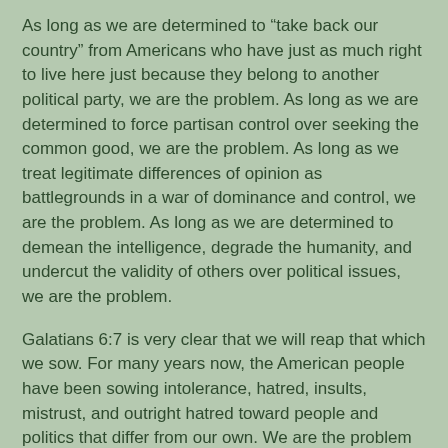As long as we are determined to “take back our country” from Americans who have just as much right to live here just because they belong to another political party, we are the problem. As long as we are determined to force partisan control over seeking the common good, we are the problem. As long as we treat legitimate differences of opinion as battlegrounds in a war of dominance and control, we are the problem. As long as we are determined to demean the intelligence, degrade the humanity, and undercut the validity of others over political issues, we are the problem.
Galatians 6:7 is very clear that we will reap that which we sow. For many years now, the American people have been sowing intolerance, hatred, insults, mistrust, and outright hatred toward people and politics that differ from our own. We are the problem and we have been for a very long time.
In the name of God, Stop being the problem.
Instead of shouting the other side down, try listening and learning.
Instead of professing how ignorant they are, try